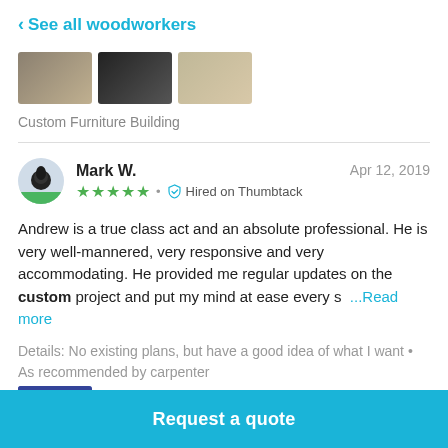< See all woodworkers
[Figure (photo): Three thumbnail images of woodworking/furniture projects partially visible at top of page]
Custom Furniture Building
Mark W.   Apr 12, 2019   ★★★★★  •  🛡 Hired on Thumbtack
Andrew is a true class act and an absolute professional. He is very well-mannered, very responsive and very accommodating. He provided me regular updates on the custom project and put my mind at ease every s  ...Read more
Details: No existing plans, but have a good idea of what I want • As recommended by carpenter
[Figure (photo): Partial thumbnail of a project image with blue/purple tones]
Request a quote